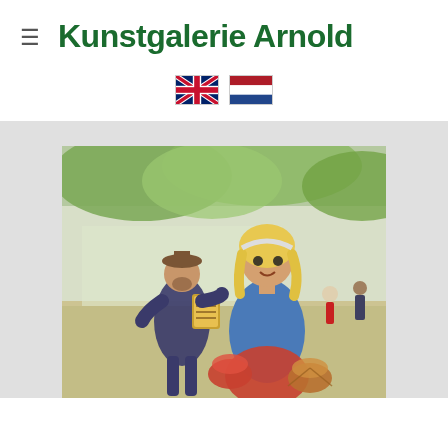Kunstgalerie Arnold
[Figure (illustration): UK flag and Dutch flag language selectors]
[Figure (photo): Oil painting of a woman in blue top holding baskets with a man playing accordion in the background, set outdoors among trees and people]